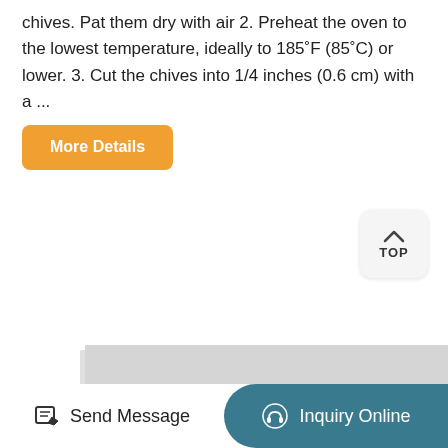chives. Pat them dry with air 2. Preheat the oven to the lowest temperature, ideally to 185°F (85°C) or lower. 3. Cut the chives into 1/4 inches (0.6 cm) with a ...
More Details
[Figure (photo): Industrial food drying machine / oven with multiple doors and metal handles, white/silver colored, with mechanical components visible on the right side]
Send Message    Inquiry Online